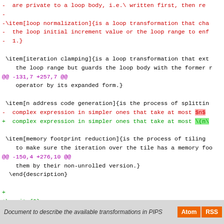- are private to a loop body, i.e.\ written first, then re
-
-\item[loop normalization]{is a loop transformation that cha
- the loop initial increment value or the loop range to enf
- 1.}
\item[iteration clamping]{is a loop transformation that ext
   the loop range but guards the loop body with the former r
@@ -131,7 +257,7 @@
operator by its expanded form.}
\item[n address code generation]{is the process of splittin
- complex expression in simpler ones that take at most $n$
+ complex expression in simpler ones that take at most \(n\
\item[memory footprint reduction]{is the process of tiling
   to make sure the iteration over the tile has a memory foo
@@ -150,4 +276,10 @@
them by their non-unrolled version.}
\end{description}
+
+\nocite{*}
+\bibliographystyle{alpha}
+\bibliography{refs}
++
\end{document}
Document to describe the available transformations in PIPS  Atom  RSS